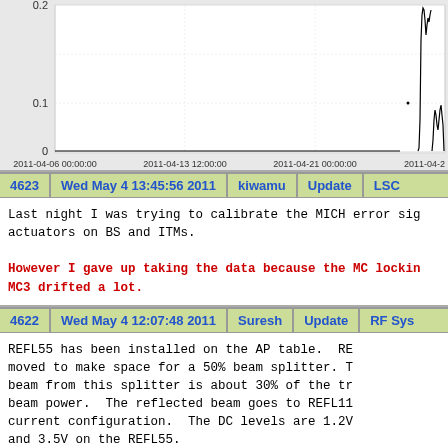[Figure (continuous-plot): Time series plot showing data near zero with a spike near 0.2 and around 0.1 at the far right end (around 2011-04-25). X-axis shows dates from 2011-04-06 to 2011-04-25. Y-axis shows values 0, 0.1, 0.2.]
| 4623 | Wed May 4 13:45:56 2011 | kiwamu | Update | LSC |
| --- | --- | --- | --- | --- |
Last night I was trying to calibrate the MICH error sig actuators on BS and ITMs.

However I gave up taking the data because the MC locking MC3 drifted a lot.
| 4622 | Wed May 4 12:07:48 2011 | Suresh | Update | RF Sys |
| --- | --- | --- | --- | --- |
REFL55 has been installed on the AP table. RE moved to make space for a 50% beam splitter. T beam from this splitter is about 30% of the tr beam power. The reflected beam goes to REFL11 current configuration. The DC levels are 1.2V and 3.5V on the REFL55.